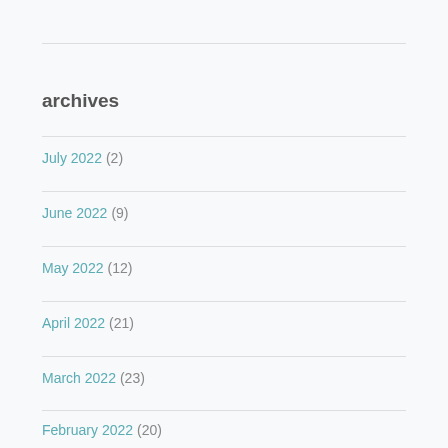archives
July 2022 (2)
June 2022 (9)
May 2022 (12)
April 2022 (21)
March 2022 (23)
February 2022 (20)
January 2022 (21)